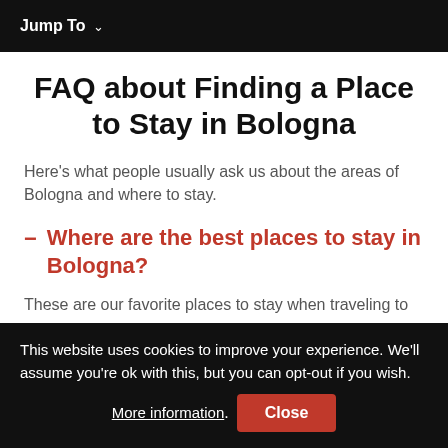Jump To ∨
FAQ about Finding a Place to Stay in Bologna
Here's what people usually ask us about the areas of Bologna and where to stay.
Where are the best places to stay in Bologna?
These are our favorite places to stay when traveling to
This website uses cookies to improve your experience. We'll assume you're ok with this, but you can opt-out if you wish. More information. Close